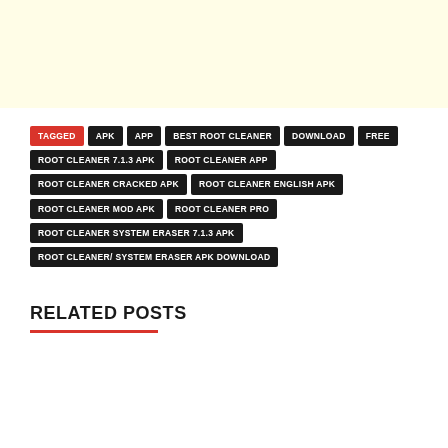[Figure (other): Light yellow banner/header area at top of page]
TAGGED APK APP BEST ROOT CLEANER DOWNLOAD FREE ROOT CLEANER 7.1.3 APK ROOT CLEANER APP ROOT CLEANER CRACKED APK ROOT CLEANER ENGLISH APK ROOT CLEANER MOD APK ROOT CLEANER PRO ROOT CLEANER SYSTEM ERASER 7.1.3 APK ROOT CLEANER/ SYSTEM ERASER APK DOWNLOAD
RELATED POSTS